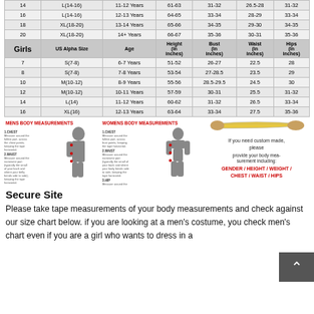|  | US Alpha Size | Age | Height (in inches) | Bust (in inches) | Waist (in inches) | Hips (in inches) |
| --- | --- | --- | --- | --- | --- | --- |
| 14 | L(14-16) | 11-12 Years | 61-63 | 31-32 | 26.5-28 | 31-32 |
| 16 | L(14-16) | 12-13 Years | 64-65 | 33-34 | 28-29 | 33-34 |
| 18 | XL(18-20) | 13-14 Years | 65-66 | 34-35 | 29-30 | 34-35 |
| 20 | XL(18-20) | 14+ Years | 66-67 | 35-36 | 30-31 | 35-36 |
| Girls | US Alpha Size | Age | Height (in inches) | Bust (in inches) | Waist (in inches) | Hips (in inches) |
| 7 | S(7-8) | 6-7 Years | 51-52 | 26-27 | 22.5 | 28 |
| 8 | S(7-8) | 7-8 Years | 53-54 | 27-28.5 | 23.5 | 29 |
| 10 | M(10-12) | 8-9 Years | 55-56 | 28.5-29.5 | 24.5 | 30 |
| 12 | M(10-12) | 10-11 Years | 57-59 | 30-31 | 25.5 | 31-32 |
| 14 | L(14) | 11-12 Years | 60-62 | 31-32 | 26.5 | 33-34 |
| 16 | XL(16) | 12-13 Years | 63-64 | 33-34 | 27.5 | 35-36 |
[Figure (infographic): Mens body measurements diagram with chest, waist, hip measurement instructions and silhouette figure]
[Figure (infographic): Womens body measurements diagram with chest, waist, hip measurement instructions and silhouette figure]
[Figure (infographic): Tape measure image at top right with custom made sizing instructions: GENDER / HEIGHT / WEIGHT / CHEST / WAIST / HIPS]
Secure Site
Please take tape measurements of your body measurements and check against our size chart below. if you are looking at a men's costume, you check men's chart even if you are a girl who wants to dress in a